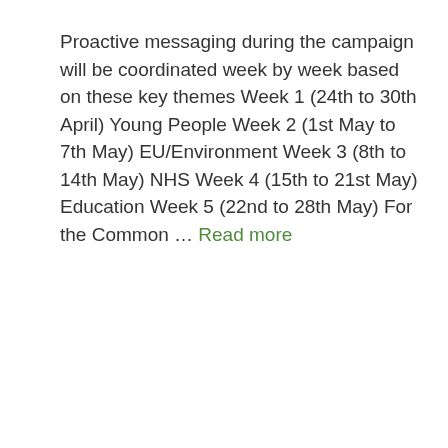Proactive messaging during the campaign will be coordinated week by week based on these key themes Week 1 (24th to 30th April) Young People Week 2 (1st May to 7th May) EU/Environment Week 3 (8th to 14th May) NHS Week 4 (15th to 21st May) Education Week 5 (22nd to 28th May) For the Common … Read more
Elections, Events, Media Mentions
Leave a comment
Another world is possible –